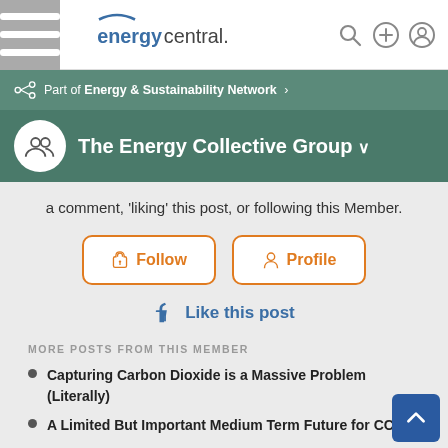energycentral.
Part of Energy & Sustainability Network »
The Energy Collective Group
a comment, 'liking' this post, or following this Member.
Follow
Profile
Like this post
MORE POSTS FROM THIS MEMBER
Capturing Carbon Dioxide is a Massive Problem (Literally)
A Limited But Important Medium Term Future for CCS
Climate Change Optimism: Five Years of Change
Videos on Carbon Pricing